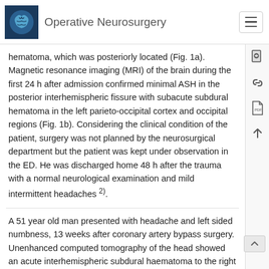Operative Neurosurgery
hematoma, which was posteriorly located (Fig. 1a). Magnetic resonance imaging (MRI) of the brain during the first 24 h after admission confirmed minimal ASH in the posterior interhemispheric fissure with subacute subdural hematoma in the left parieto-occipital cortex and occipital regions (Fig. 1b). Considering the clinical condition of the patient, surgery was not planned by the neurosurgical department but the patient was kept under observation in the ED. He was discharged home 48 h after the trauma with a normal neurological examination and mild intermittent headaches 2).
A 51 year old man presented with headache and left sided numbness, 13 weeks after coronary artery bypass surgery. Unenhanced computed tomography of the head showed an acute interhemispheric subdural haematoma to the right of the falx ↑ . He was managed conservatively with withdrawal of antiplatelet agents (aspirin and clopidogrel). Six weeks later, magnetic resonance imaging showed